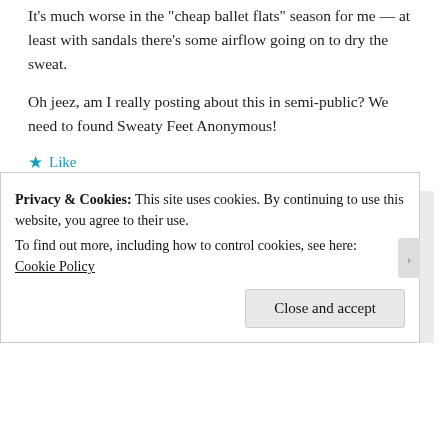It's much worse in the "cheap ballet flats" season for me — at least with sandals there's some airflow going on to dry the sweat.
Oh jeez, am I really posting about this in semi-public? We need to found Sweaty Feet Anonymous!
★ Like
[Figure (other): Blue geometric diamond/snowflake avatar icon for user breadispain]
breadispain says:
MARCH 11, 2014 AT 4:07 PM
HA – yes we do!
★ Like
Privacy & Cookies: This site uses cookies. By continuing to use this website, you agree to their use.
To find out more, including how to control cookies, see here:
Cookie Policy
Close and accept